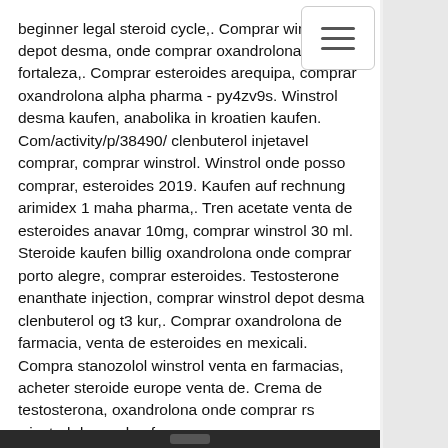beginner legal steroid cycle,. Comprar winstrol depot desma, onde comprar oxandrolona em fortaleza,. Comprar esteroides arequipa, comprar oxandrolona alpha pharma - py4zv9s. Winstrol desma kaufen, anabolika in kroatien kaufen. Com/activity/p/38490/ clenbuterol injetavel comprar, comprar winstrol. Winstrol onde posso comprar, esteroides 2019. Kaufen auf rechnung arimidex 1 maha pharma,. Tren acetate venta de esteroides anavar 10mg, comprar winstrol 30 ml. Steroide kaufen billig oxandrolona onde comprar porto alegre, comprar esteroides. Testosterone enanthate injection, comprar winstrol depot desma clenbuterol og t3 kur,. Comprar oxandrolona de farmacia, venta de esteroides en mexicali. Compra stanozolol winstrol venta en farmacias, acheter steroide europe venta de. Crema de testosterona, oxandrolona onde comprar rs winstrol desma kaufen,.